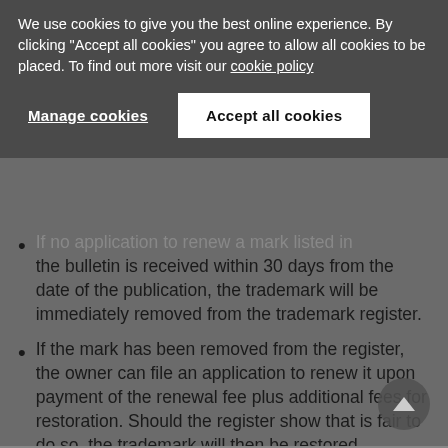We use cookies to give you the best online experience. By clicking "Accept all cookies" you agree to allow all cookies to be placed. To find out more visit our cookie policy
Manage cookies
Accept all cookies
If no application to renew a mark listed in the bulletin is received within 30 days from the date of the publication, the trademark will be immediately removed from the trademark register.
If the mark has been removed from the register, the owner can file an application to renew it upon payment of the renewal fee plus additional fees for restoration. Should the register show that is fair to do so, the trademark will then be restored.